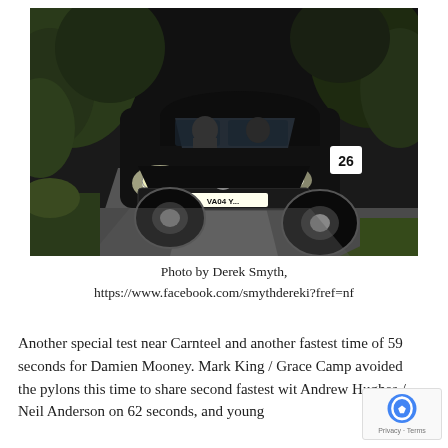[Figure (photo): A black Mazda MX-5 sports car with number plate VA04 and rally number 26 on the door, driving at night on a narrow road lined with trees and hedges. Two occupants visible inside.]
Photo by Derek Smyth, https://www.facebook.com/smythdereki?fref=nf
Another special test near Carnteel and another fastest time of 59 seconds for Damien Mooney. Mark King / Grace Camp avoided the pylons this time to share second fastest wit Andrew Hughes / Neil Anderson on 62 seconds, and young